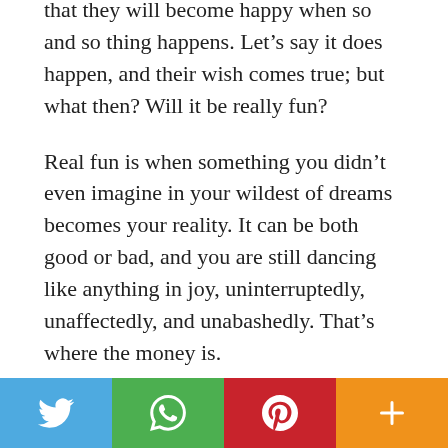that they will become happy when so and so thing happens. Let's say it does happen, and their wish comes true; but what then? Will it be really fun?
Real fun is when something you didn't even imagine in your wildest of dreams becomes your reality. It can be both good or bad, and you are still dancing like anything in joy, uninterruptedly, unaffectedly, and unabashedly. That's where the money is.
There is no happy or sad, positive or negative, in the rhythm of life. That's just a label we are
[Figure (other): Social media sharing bar with four buttons: Twitter (blue), WhatsApp (green), Pinterest (red), More/Plus (orange)]